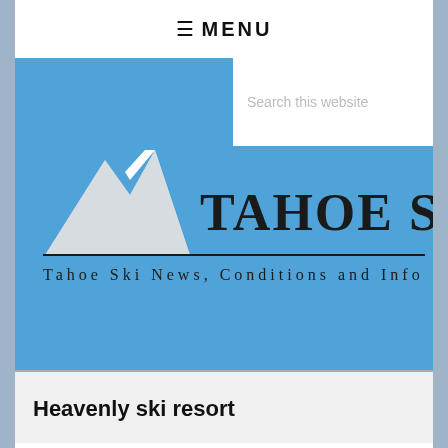≡ MENU
[Figure (logo): Tahoe Ski World logo with mountain graphic and text 'TAHOE SKI WORLD' and subtitle 'Tahoe Ski News, Conditions and Info' on blue background]
Heavenly ski resort
Vail Resorts in Tahoe